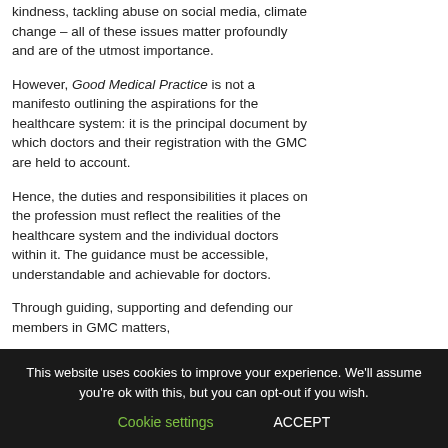kindness, tackling abuse on social media, climate change – all of these issues matter profoundly and are of the utmost importance.
However, Good Medical Practice is not a manifesto outlining the aspirations for the healthcare system: it is the principal document by which doctors and their registration with the GMC are held to account.
Hence, the duties and responsibilities it places on the profession must reflect the realities of the healthcare system and the individual doctors within it. The guidance must be accessible, understandable and achievable for doctors.
Through guiding, supporting and defending our members in GMC matters,
This website uses cookies to improve your experience. We'll assume you're ok with this, but you can opt-out if you wish.
Cookie settings   ACCEPT